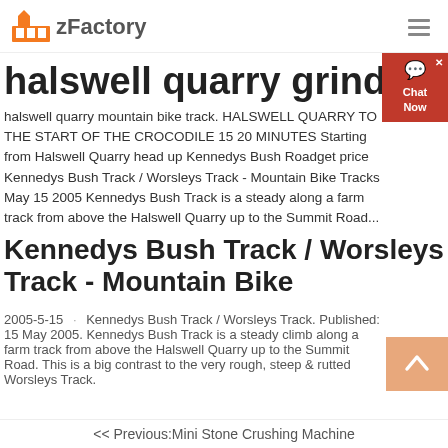zFactory
halswell quarry grinding
halswell quarry mountain bike track. HALSWELL QUARRY TO THE START OF THE CROCODILE 15 20 MINUTES Starting from Halswell Quarry head up Kennedys Bush Roadget price Kennedys Bush Track / Worsleys Track - Mountain Bike Tracks May 15 2005 Kennedys Bush Track is a steady along a farm track from above the Halswell Quarry up to the Summit Road...
Kennedys Bush Track / Worsleys Track - Mountain Bike
2005-5-15 · Kennedys Bush Track / Worsleys Track. Published: 15 May 2005. Kennedys Bush Track is a steady climb along a farm track from above the Halswell Quarry up to the Summit Road. This is a big contrast to the very rough, steep & rutted Worsleys Track.
<< Previous:Mini Stone Crushing Machine